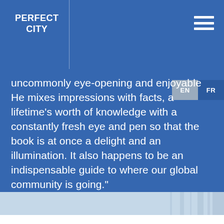PERFECT CITY
uncommonly eye-opening and enjoyable He mixes impressions with facts, a lifetime's worth of knowledge with a constantly fresh eye and pen so that the book is at once a delight and an illumination. It also happens to be an indispensable guide to where our global community is going."
[Figure (photo): Partial view of a building facade with blue sky background, visible at the bottom of the blue section]